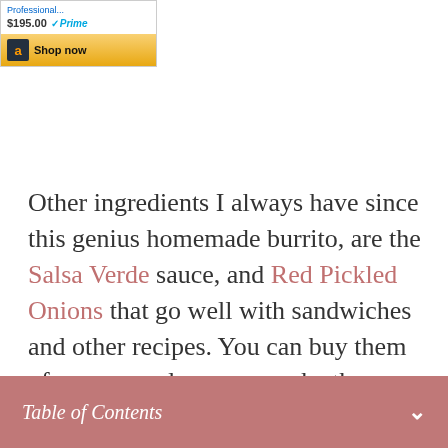[Figure (screenshot): Amazon advertisement showing a product priced at $195.00 with Prime shipping, with a 'Shop now' button featuring the Amazon logo on a gold/yellow background.]
Other ingredients I always have since this genius homemade burrito, are the Salsa Verde sauce, and Red Pickled Onions that go well with sandwiches and other recipes. You can buy them of course, and you can make them easily at home too. They are worth making and adding lots of
Table of Contents